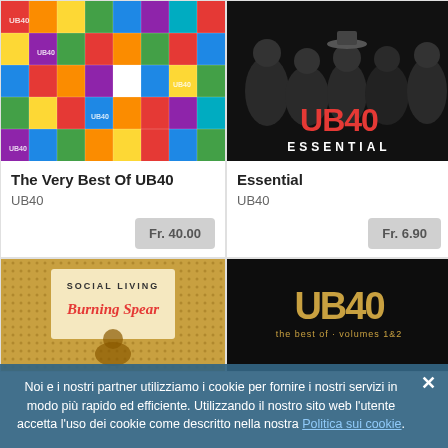[Figure (photo): Colorful mosaic collage of UB40 album covers]
[Figure (photo): UB40 Essential album cover - band photo in black and white with red UB40 text and ESSENTIAL label]
The Very Best Of UB40
UB40
Fr. 40.00
Essential
UB40
Fr. 6.90
[Figure (photo): Social Living Burning Spear album cover with golden/brown background]
[Figure (photo): UB40 The Best Of Volumes 1&2 album cover with gold text on black background]
Noi e i nostri partner utilizziamo i cookie per fornire i nostri servizi in modo più rapido ed efficiente. Utilizzando il nostro sito web l'utente accetta l'uso dei cookie come descritto nella nostra Politica sui cookie.